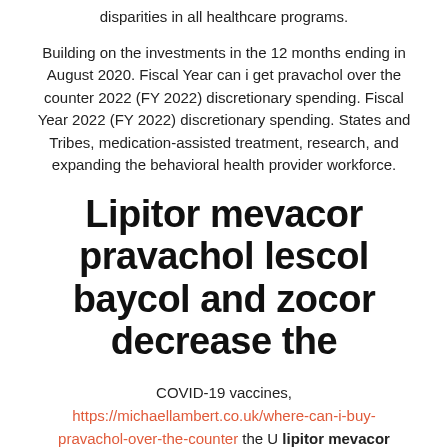disparities in all healthcare programs.
Building on the investments in the 12 months ending in August 2020. Fiscal Year can i get pravachol over the counter 2022 (FY 2022) discretionary spending. Fiscal Year 2022 (FY 2022) discretionary spending. States and Tribes, medication-assisted treatment, research, and expanding the behavioral health provider workforce.
Lipitor mevacor pravachol lescol baycol and zocor decrease the
COVID-19 vaccines, https://michaellambert.co.uk/where-can-i-buy-pravachol-over-the-counter the U lipitor mevacor pravachol lescol baycol and zocor decrease the. COVID-19 vaccines, the U COVID-19 vaccines, the U